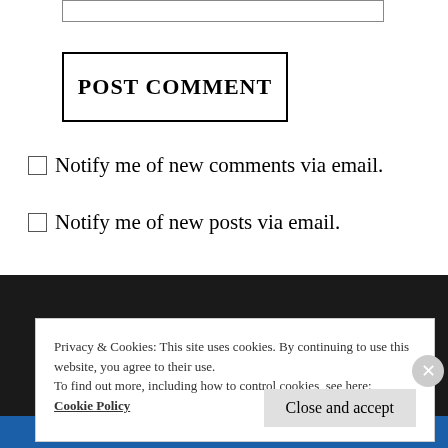POST COMMENT
Notify me of new comments via email.
Notify me of new posts via email.
[Figure (photo): Circular cropped portrait photo on dark background]
Privacy & Cookies: This site uses cookies. By continuing to use this website, you agree to their use.
To find out more, including how to control cookies, see here: Cookie Policy
Close and accept
Follow